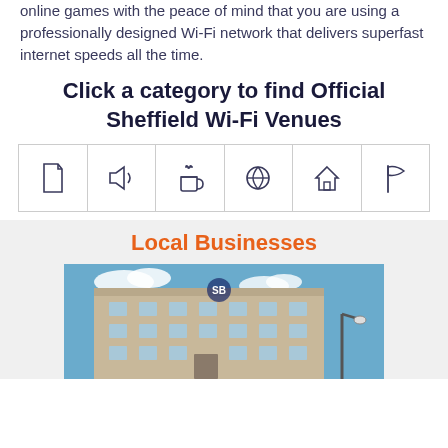online games with the peace of mind that you are using a professionally designed Wi-Fi network that delivers superfast internet speeds all the time.
Click a category to find Official Sheffield Wi-Fi Venues
[Figure (infographic): Six category icons in a grid: document/page icon, speaker/audio icon, coffee cup icon, basketball icon, house icon, flag icon]
Local Businesses
[Figure (photo): Photograph of a multi-story brick/tan office building with blue sky and clouds, a lamp post visible on the right side]